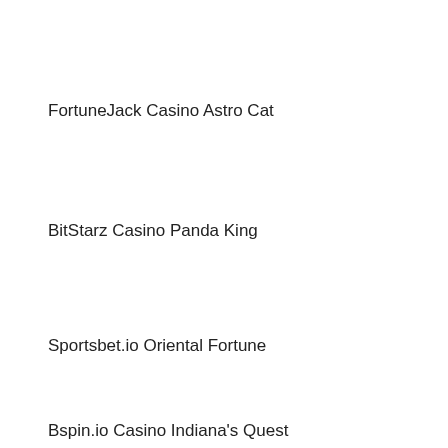FortuneJack Casino Astro Cat
BitStarz Casino Panda King
Sportsbet.io Oriental Fortune
Bspin.io Casino Indiana's Quest